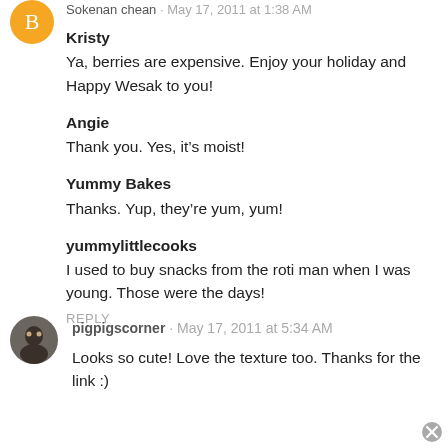Sokenan chean · May 17, 2011 at 1:38 AM
Kristy
Ya, berries are expensive. Enjoy your holiday and Happy Wesak to you!
Angie
Thank you. Yes, it's moist!
Yummy Bakes
Thanks. Yup, they're yum, yum!
yummylittlecooks
I used to buy snacks from the roti man when I was young. Those were the days!
REPLY
pigpigscorner · May 17, 2011 at 5:34 AM
Looks so cute! Love the texture too. Thanks for the link :)